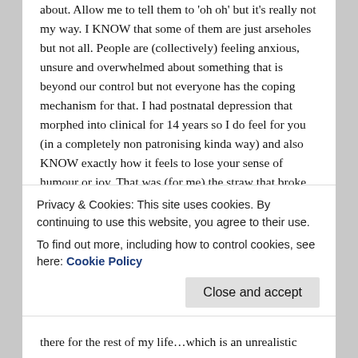about. Allow me to tell them to 'oh oh' but it's really not my way. I KNOW that some of them are just arseholes but not all. People are (collectively) feeling anxious, unsure and overwhelmed about something that is beyond our control but not everyone has the coping mechanism for that. I had postnatal depression that morphed into clinical for 14 years so I do feel for you (in a completely non patronising kinda way) and also KNOW exactly how it feels to lose your sense of humour or joy. That was (for me) the straw that broke the camel's back though and if I start feeling similarly now I'll search for funny shit til my funny bone's tickled again. Actually, I've been doing that lately too, watching reruns of programmes I know
Privacy & Cookies: This site uses cookies. By continuing to use this website, you agree to their use.
To find out more, including how to control cookies, see here: Cookie Policy
there for the rest of my life…which is an unrealistic